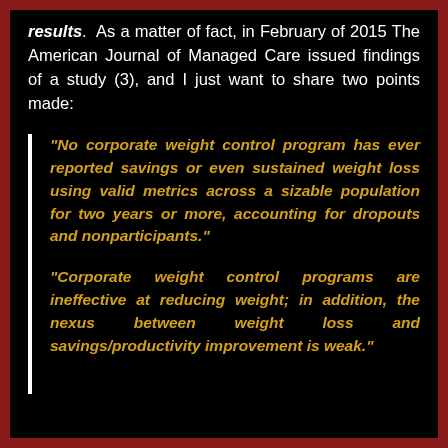results. As a matter of fact, in February of 2015 The American Journal of Managed Care issued findings of a study (3), and I just want to share two points made:
“No corporate weight control program has ever reported savings or even sustained weight loss using valid metrics across a sizable population for two years or more, accounting for dropouts and nonparticipants.”
“Corporate weight control programs are ineffective at reducing weight; in addition, the nexus between weight loss and savings/productivity improvement is weak.”